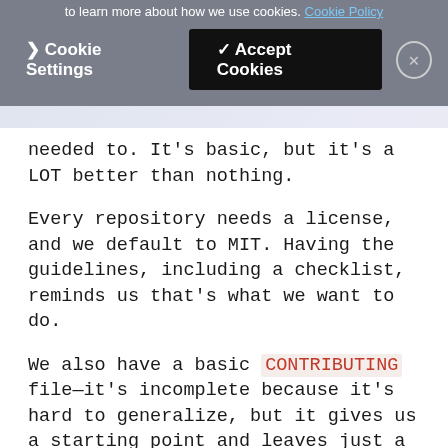to learn more about how we use cookies. Cookie Policy
Cookie Settings | Accept Cookies | X
needed to. It's basic, but it's a LOT better than nothing.
Every repository needs a license, and we default to MIT. Having the guidelines, including a checklist, reminds us that's what we want to do.
We also have a basic CONTRIBUTING file—it's incomplete because it's hard to generalize, but it gives us a starting point and leaves just a little less work for repository creators to do when they have code to share.
Developer Experience is About Detail